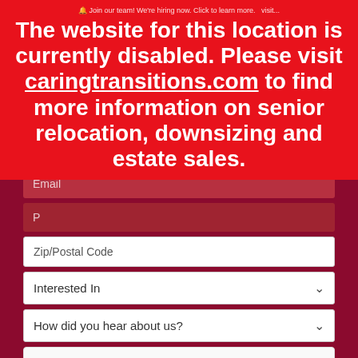Join our team! We're hiring now. Click to learn more. Visit...
The website for this location is currently disabled. Please visit caringtransitions.com to find more information on senior relocation, downsizing and estate sales.
[Figure (screenshot): Web contact form with fields: First Name, Last Name, Email, Phone, Zip/Postal Code, Interested In dropdown, How did you hear about us dropdown, reCAPTCHA widget, and Submit button]
Zip/Postal Code
Interested In
How did you hear about us?
I'm not a robot
reCAPTCHA Privacy · Terms
Submit →